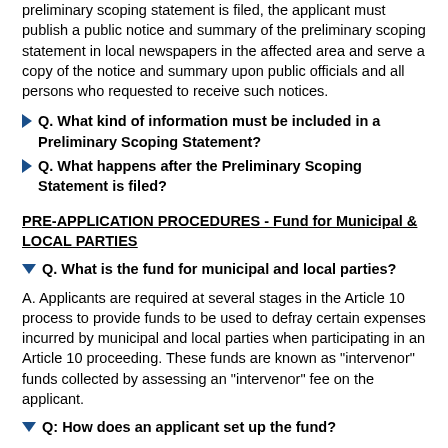preliminary scoping statement is filed, the applicant must publish a public notice and summary of the preliminary scoping statement in local newspapers in the affected area and serve a copy of the notice and summary upon public officials and all persons who requested to receive such notices.
Q. What kind of information must be included in a Preliminary Scoping Statement?
Q. What happens after the Preliminary Scoping Statement is filed?
PRE-APPLICATION PROCEDURES - Fund for Municipal & LOCAL PARTIES
Q. What is the fund for municipal and local parties?
A. Applicants are required at several stages in the Article 10 process to provide funds to be used to defray certain expenses incurred by municipal and local parties when participating in an Article 10 proceeding. These funds are known as "intervenor" funds collected by assessing an "intervenor" fee on the applicant.
Q: How does an applicant set up the fund?
A. Applicants supplying the requisite fee to set up the intervenor